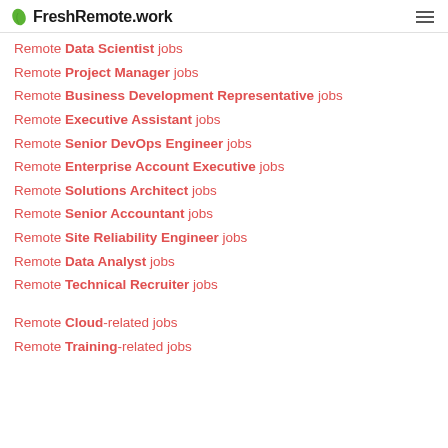FreshRemote.work
Remote Data Scientist jobs
Remote Project Manager jobs
Remote Business Development Representative jobs
Remote Executive Assistant jobs
Remote Senior DevOps Engineer jobs
Remote Enterprise Account Executive jobs
Remote Solutions Architect jobs
Remote Senior Accountant jobs
Remote Site Reliability Engineer jobs
Remote Data Analyst jobs
Remote Technical Recruiter jobs
Remote Cloud-related jobs
Remote Training-related jobs